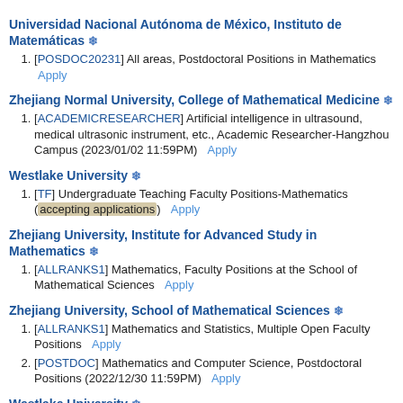Universidad Nacional Autónoma de México, Instituto de Matemáticas ❄
[POSDOC20231] All areas, Postdoctoral Positions in Mathematics  Apply
Zhejiang Normal University, College of Mathematical Medicine ❄
[ACADEMICRESEARCHER] Artificial intelligence in ultrasound, medical ultrasonic instrument, etc., Academic Researcher-Hangzhou Campus (2023/01/02 11:59PM)  Apply
Westlake University ❄
[TF] Undergraduate Teaching Faculty Positions-Mathematics (accepting applications)  Apply
Zhejiang University, Institute for Advanced Study in Mathematics ❄
[ALLRANKS1] Mathematics, Faculty Positions at the School of Mathematical Sciences  Apply
Zhejiang University, School of Mathematical Sciences ❄
[ALLRANKS1] Mathematics and Statistics, Multiple Open Faculty Positions  Apply
[POSTDOC] Mathematics and Computer Science, Postdoctoral Positions (2022/12/30 11:59PM)  Apply
Westlake University ❄
[ITS_FACULTYPOSITIONS] Mathematical Sciences, theoretical